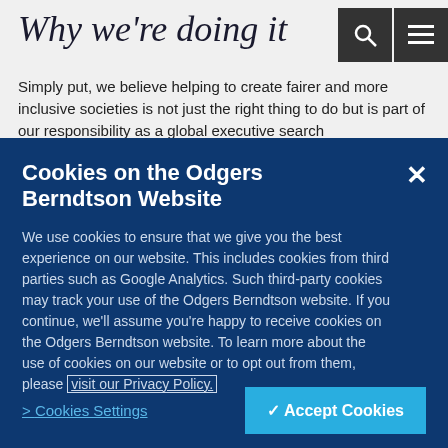Why we're doing it
Simply put, we believe helping to create fairer and more inclusive societies is not just the right thing to do but is part of our responsibility as a global executive search
Cookies on the Odgers Berndtson Website
We use cookies to ensure that we give you the best experience on our website. This includes cookies from third parties such as Google Analytics. Such third-party cookies may track your use of the Odgers Berndtson website. If you continue, we'll assume you're happy to receive cookies on the Odgers Berndtson website. To learn more about the use of cookies on our website or to opt out from them, please visit our Privacy Policy.
> Cookies Settings
✔ Accept Cookies